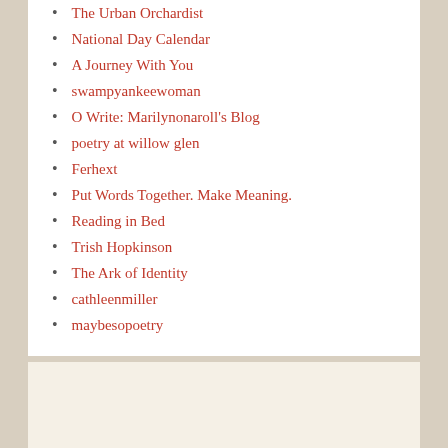The Urban Orchardist
National Day Calendar
A Journey With You
swampyankeewoman
O Write: Marilynonaroll's Blog
poetry at willow glen
Ferhext
Put Words Together. Make Meaning.
Reading in Bed
Trish Hopkinson
The Ark of Identity
cathleenmiller
maybesopoetry
FOLLOW ERICA'S BLOG VIA EMAIL